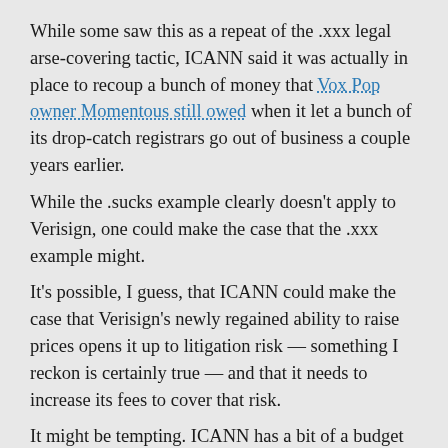While some saw this as a repeat of the .xxx legal arse-covering tactic, ICANN said it was actually in place to recoup a bunch of money that Vox Pop owner Momentous still owed when it let a bunch of its drop-catch registrars go out of business a couple years earlier.
While the .sucks example clearly doesn't apply to Verisign, one could make the case that the .xxx example might.
It's possible, I guess, that ICANN could make the case that Verisign's newly regained ability to raise prices opens it up to litigation risk — something I reckon is certainly true — and that it needs to increase its fees to cover that risk.
It might be tempting. ICANN has a bit of a budget crunch at the moment, and a bottomless cash pit like Verisign would be an easy source of funds. A